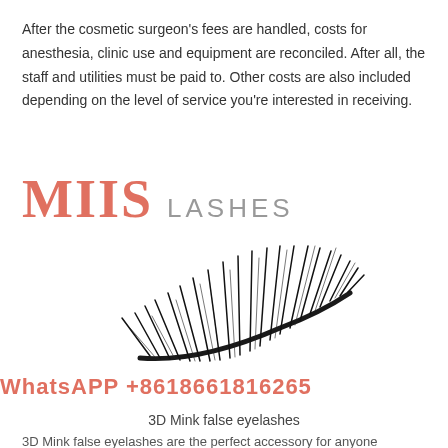After the cosmetic surgeon's fees are handled, costs for anesthesia, clinic use and equipment are reconciled. After all, the staff and utilities must be paid to. Other costs are also included depending on the level of service you're interested in receiving.
[Figure (logo): MIIS LASHES brand logo with large red MIIS text and grey LASHES text]
[Figure (photo): 3D Mink false eyelashes product photo showing a single strip of dramatic mink lashes on white background]
WhatsAPP +8618661816265
3D Mink false eyelashes
3D Mink false eyelashes are the perfect accessory for anyone